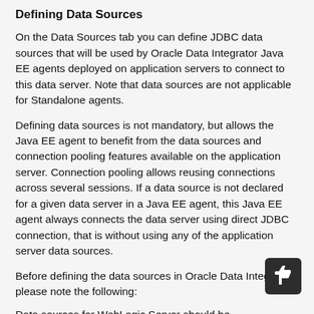Defining Data Sources
On the Data Sources tab you can define JDBC data sources that will be used by Oracle Data Integrator Java EE agents deployed on application servers to connect to this data server. Note that data sources are not applicable for Standalone agents.
Defining data sources is not mandatory, but allows the Java EE agent to benefit from the data sources and connection pooling features available on the application server. Connection pooling allows reusing connections across several sessions. If a data source is not declared for a given data server in a Java EE agent, this Java EE agent always connects the data server using direct JDBC connection, that is without using any of the application server data sources.
Before defining the data sources in Oracle Data Integrator, please note the following:
Data sources for WebLogic Server should be